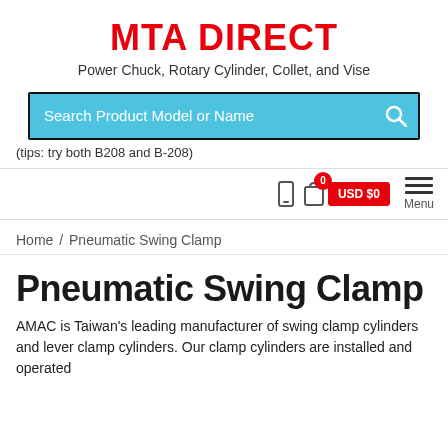MTA DIRECT
Power Chuck, Rotary Cylinder, Collet, and Vise
[Figure (screenshot): Search bar with placeholder text 'Search Product Model or Name' on a light blue background with a search icon]
(tips: try both B208 and B-208)
[Figure (screenshot): Navigation bar with phone icon, shopping cart showing 0 items and USD $0 badge, and hamburger Menu icon]
Home / Pneumatic Swing Clamp
Pneumatic Swing Clamp
AMAC is Taiwan's leading manufacturer of swing clamp cylinders and lever clamp cylinders. Our clamp cylinders are installed and operated